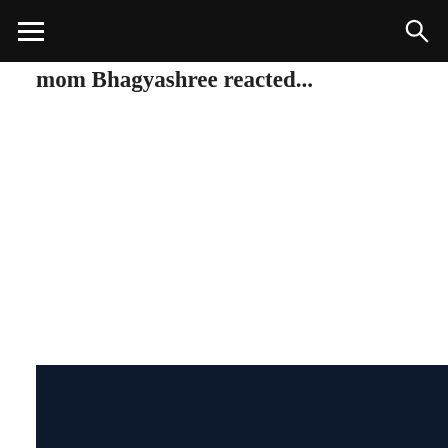mom Bhagyashree reacted...
[Figure (photo): Dark navy blue image area at the bottom of the page]